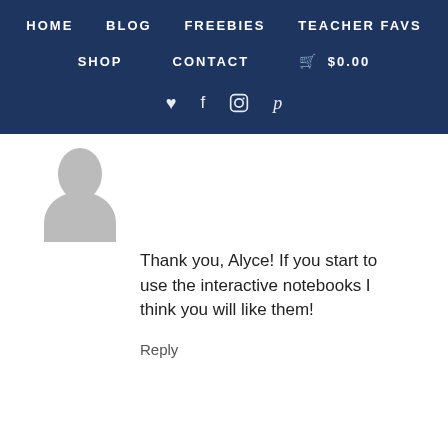HOME   BLOG   FREEBIES   TEACHER FAVS   SHOP   CONTACT   $0.00
[Figure (illustration): Generic user avatar silhouette in grey]
Thank you, Alyce! If you start to use the interactive notebooks I think you will like them!
Reply